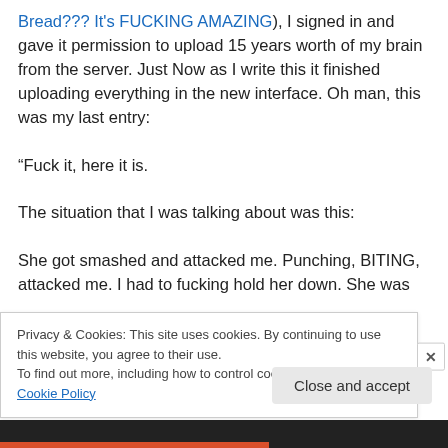Bread??? It's FUCKING AMAZING), I signed in and gave it permission to upload 15 years worth of my brain from the server. Just Now as I write this it finished uploading everything in the new interface. Oh man, this was my last entry:

“Fuck it, here it is.

The situation that I was talking about was this:

She got smashed and attacked me. Punching, BITING, attacked me. I had to fucking hold her down. She was
Privacy & Cookies: This site uses cookies. By continuing to use this website, you agree to their use.
To find out more, including how to control cookies, see here: Cookie Policy
Close and accept